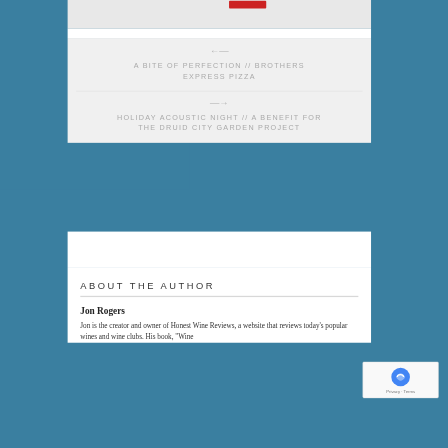[Figure (screenshot): Top strip with a red button/badge partially visible at top of content area]
A BITE OF PERFECTION // BROTHERS EXPRESS PIZZA
HOLIDAY ACOUSTIC NIGHT // A BENEFIT FOR THE DRUID CITY GARDEN PROJECT
ABOUT THE AUTHOR
Jon Rogers
Jon is the creator and owner of Honest Wine Reviews, a website that reviews today's popular wines and wine clubs. His book, "Wine